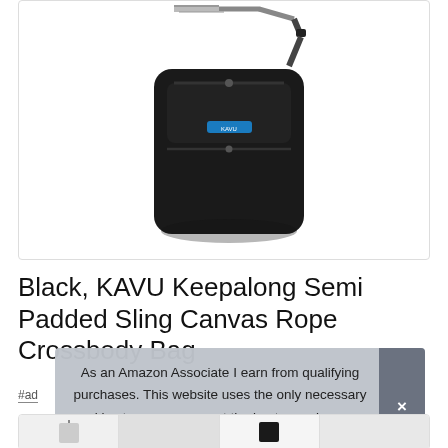[Figure (photo): Black KAVU Keepalong Semi Padded Sling Canvas Rope Crossbody Bag on white background inside a bordered container]
Black, KAVU Keepalong Semi Padded Sling Canvas Rope Crossbody Bag
#ad
As an Amazon Associate I earn from qualifying purchases. This website uses the only necessary cookies to ensure you get the best experience on our website. More information
[Figure (photo): Thumbnail row with partial product images at bottom of page]